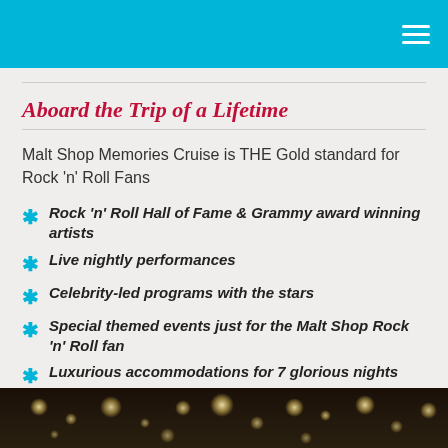Aboard the Trip of a Lifetime
Malt Shop Memories Cruise is THE Gold standard for Rock 'n' Roll Fans
Rock 'n' Roll Hall of Fame & Grammy award winning artists
Live nightly performances
Celebrity-led programs with the stars
Special themed events just for the Malt Shop Rock 'n' Roll fan
Luxurious accommodations for 7 glorious nights
And MORE!
[Figure (photo): Dark background with bokeh/sparkle lights, appears to be a stage or event venue photo]